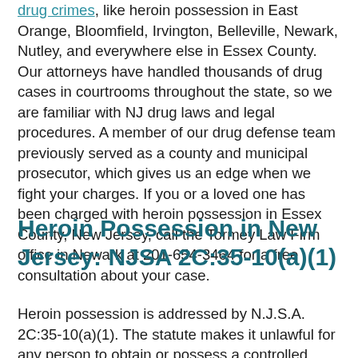drug crimes, like heroin possession in East Orange, Bloomfield, Irvington, Belleville, Newark, Nutley, and everywhere else in Essex County. Our attorneys have handled thousands of drug cases in courtrooms throughout the state, so we are familiar with NJ drug laws and legal procedures. A member of our drug defense team previously served as a county and municipal prosecutor, which gives us an edge when we fight your charges. If you or a loved one has been charged with heroin possession in Essex County, New Jersey, call the Tormey Law Firm office in Newark at 201-654-3464 for a free consultation about your case.
Heroin Possession in New Jersey: NJSA 2C:35-10(a)(1)
Heroin possession is addressed by N.J.S.A. 2C:35-10(a)(1). The statute makes it unlawful for any person to obtain or possess a controlled dangerous substance